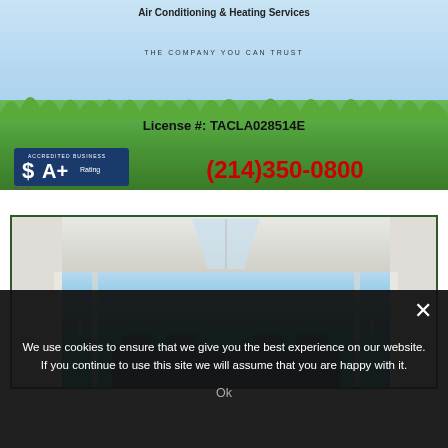[Figure (illustration): Air conditioning and heating services advertisement banner showing company logo, grass/sky background, BBB A+ rating badge, license number TACLA028514E, and phone number (214)350-0800]
Air Conditioning & Heating Services
THE COMPANY YOU CAN TRUST
License #: TACLA028514E
(214)350-0800
[Figure (photo): Interior room photo showing large glass sliding doors/windows with ocean/beach view, high ceiling with skylights, dining furniture visible]
We use cookies to ensure that we give you the best experience on our website. If you continue to use this site we will assume that you are happy with it.
Ok